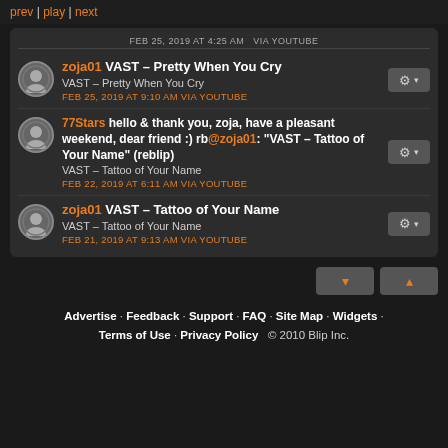prev | play | next
FEB 25, 2019 AT 4:25 AM VIA YOUTUBE
zoja01 VAST – Pretty When You Cry
VAST – Pretty When You Cry
FEB 25, 2019 AT 9:10 AM VIA YOUTUBE
77Stars hello & thank you, zoja, have a pleasant weekend, dear friend :) rb@zoja01: "VAST – Tattoo of Your Name" (reblip)
VAST – Tattoo of Your Name
FEB 22, 2019 AT 6:11 AM VIA YOUTUBE
zoja01 VAST – Tattoo of Your Name
VAST – Tattoo of Your Name
FEB 21, 2019 AT 9:13 AM VIA YOUTUBE
Advertise · Feedback · Support · FAQ · Site Map · Widgets · Terms of Use · Privacy Policy © 2010 Blip Inc.